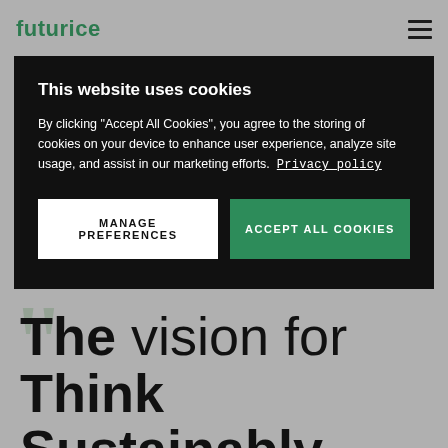futurice
This website uses cookies
By clicking "Accept All Cookies", you agree to the storing of cookies on your device to enhance user experience, analyze site usage, and assist in our marketing efforts. Privacy policy
MANAGE PREFERENCES
ACCEPT ALL COOKIES
The vision for Think Sustainably